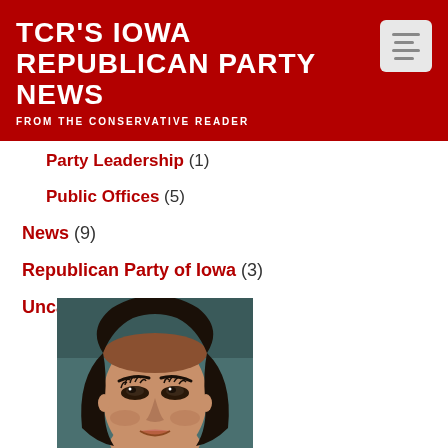TCR'S IOWA REPUBLICAN PARTY NEWS
FROM THE CONSERVATIVE READER
Party Leadership (1)
Public Offices (5)
News (9)
Republican Party of Iowa (3)
Uncategorized (73)
[Figure (photo): Close-up photo of a young Asian woman looking upward, with dark hair and dramatic eye makeup, against a dark teal background]